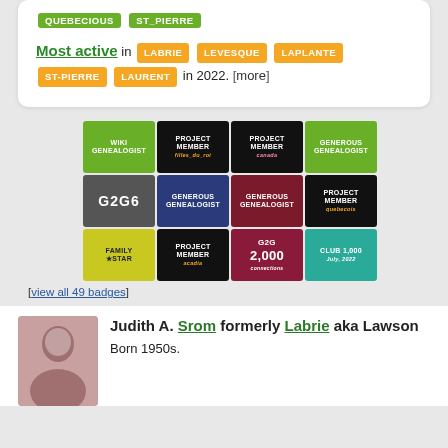QUEBECIOUS  ST_PIERRE
Most active in LABRIE LEVESQUE LAPLANTE ST-PIERRE LAURENT in 2022. [more]
[Figure (other): Grid of 12 genealogy badges: WIKI GENEALOGIST, PROJECT MEMBER filles_du_roi, PROJECT MEMBER canada, GENEROUS GENEALOGIST, G2G6, GENEROUS GENEALOGIST (blue), GENEROUS GENEALOGIST (red), PROJECT MEMBER quebecois, FAMILY STAR, PROJECT MEMBER acadia, G2G 2,000 connections, CLUB 1,000 July 2022]
[view all 49 badges]
Judith A. Srom formerly Labrie aka Lawson
Born 1950s.